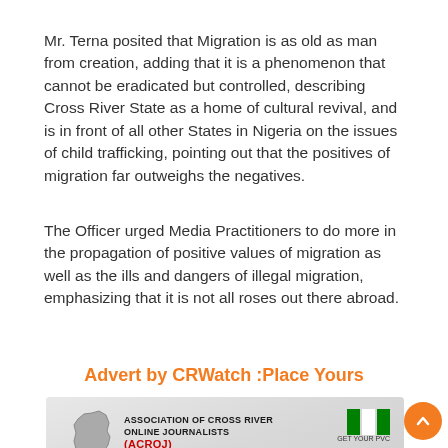Mr. Terna posited that Migration is as old as man from creation, adding that it is a phenomenon that cannot be eradicated but controlled, describing Cross River State as a home of cultural revival, and is in front of all other States in Nigeria on the issues of child trafficking, pointing out that the positives of migration far outweighs the negatives.
The Officer urged Media Practitioners to do more in the propagation of positive values of migration as well as the ills and dangers of illegal migration, emphasizing that it is not all roses out there abroad.
Advert by CRWatch :Place Yours
[Figure (infographic): ACROJ (Association of Cross River Online Journalists) advertisement featuring a grey Cross River State map outline on the left, text 'ASSOCIATION OF CROSS RIVER ONLINE JOURNALISTS (ACROJ)' in center, Nigerian flag on top right with 'GET YOUR PVC' text, and a large green Nigeria map shape at the bottom with a hand holding a PVC card.]